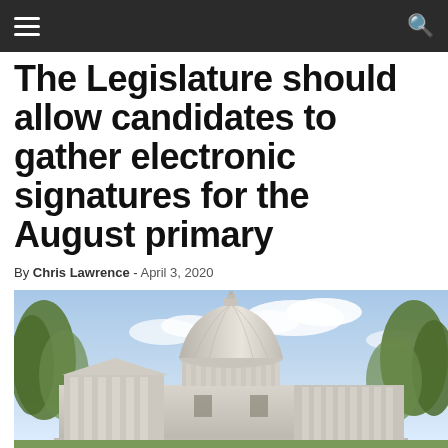Navigation bar with menu and search icons
The Legislature should allow candidates to gather electronic signatures for the August primary
By Chris Lawrence - April 3, 2020
[Figure (photo): Exterior photograph of a neoclassical government capitol building with a large dome, white stone columns, and trees in the foreground against a partly cloudy blue sky.]